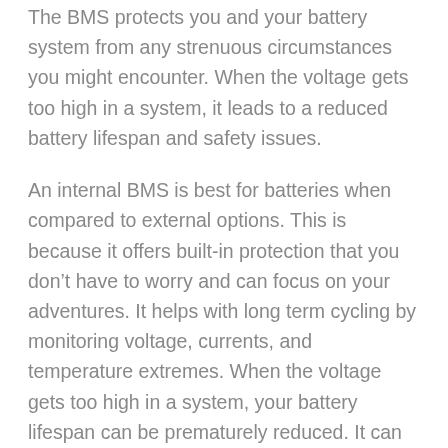The BMS protects you and your battery system from any strenuous circumstances you might encounter. When the voltage gets too high in a system, it leads to a reduced battery lifespan and safety issues.
An internal BMS is best for batteries when compared to external options. This is because it offers built-in protection that you don’t have to worry and can focus on your adventures. It helps with long term cycling by monitoring voltage, currents, and temperature extremes. When the voltage gets too high in a system, your battery lifespan can be prematurely reduced. It can also create potential safety issues.
The Battle Born internal BMS has low and high-temperature cutoffs. Our batteries discharge between -4 and 135 F and charge between 25 and 135 F. Whe...